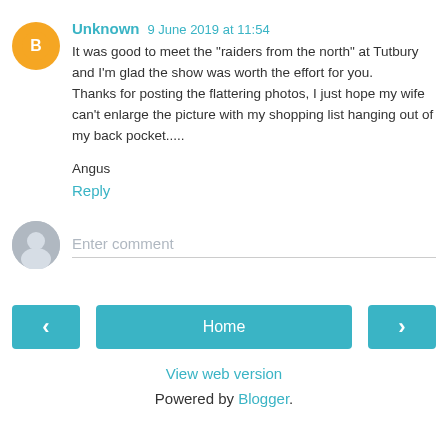Unknown 9 June 2019 at 11:54
It was good to meet the "raiders from the north" at Tutbury and I'm glad the show was worth the effort for you. Thanks for posting the flattering photos, I just hope my wife can't enlarge the picture with my shopping list hanging out of my back pocket.....
Angus
Reply
Enter comment
Home
View web version
Powered by Blogger.